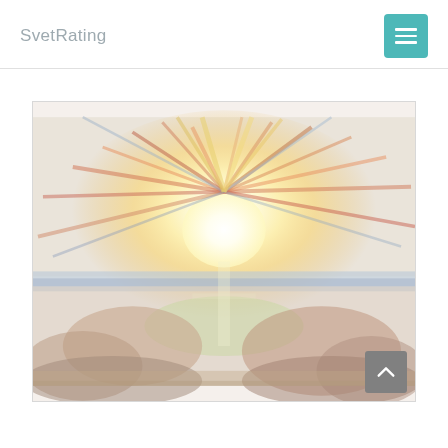SvetRating
[Figure (illustration): Edvard Munch 'The Sun' painting — a luminous sun radiating colorful beams across a landscape with water and rocky shores, rendered in expressionist style with muted pinks, oranges, yellows, and blues.]